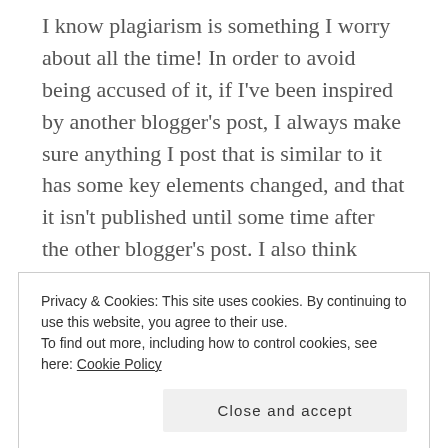I know plagiarism is something I worry about all the time! In order to avoid being accused of it, if I've been inspired by another blogger's post, I always make sure anything I post that is similar to it has some key elements changed, and that it isn't published until some time after the other blogger's post. I also think using your own photography is great- it makes sure you can't be accused of borrowing photos inappropriately, and as an added bonus it lets people see the exact copies you've been reading 😊
Privacy & Cookies: This site uses cookies. By continuing to use this website, you agree to their use.
To find out more, including how to control cookies, see here: Cookie Policy
Close and accept